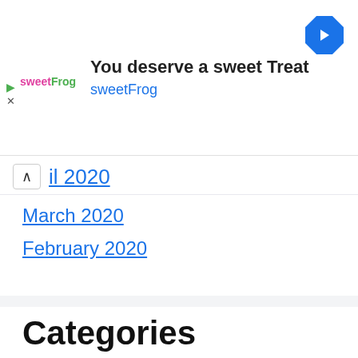[Figure (other): SweetFrog advertisement banner with logo, headline 'You deserve a sweet Treat', brand name 'sweetFrog', and a blue navigation/directions icon]
April 2020
March 2020
February 2020
Categories
Astrology
Backlink Sites List
Biography
Business